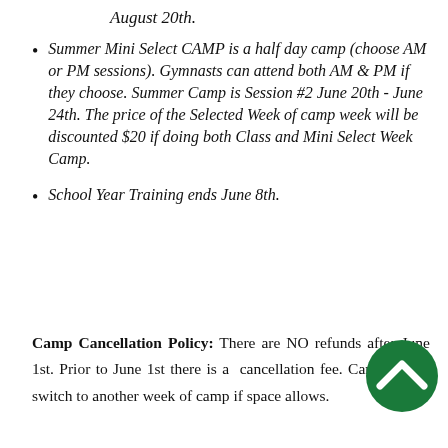August 20th.
Summer Mini Select CAMP is a half day camp (choose AM or PM sessions). Gymnasts can attend both AM & PM if they choose. Summer Camp is Session #2 June 20th - June 24th. The price of the Selected Week of camp week will be discounted $20 if doing both Class and Mini Select Week Camp.
School Year Training ends June 8th.
Camp Cancellation Policy: There are NO refunds after June 1st. Prior to June 1st there is a cancellation fee. Campers can switch to another week of camp if space allows.